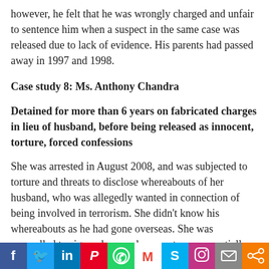however, he felt that he was wrongly charged and unfair to sentence him when a suspect in the same case was released due to lack of evidence. His parents had passed away in 1997 and 1998.
Case study 8: Ms. Anthony Chandra
Detained for more than 6 years on fabricated charges in lieu of husband, before being released as innocent, torture, forced confessions
She was arrested in August 2008, and was subjected to torture and threats to disclose whereabouts of her husband, who was allegedly wanted in connection of being involved in terrorism. She didn't know his whereabouts as he had gone overseas. She was compelled to sign unknown documents, some partially typed and some blank papers. She was produced before a Magistrate in May 2009 and there were
[Figure (infographic): Social media sharing bar with buttons: Facebook (blue), Twitter (light blue), LinkedIn (dark blue), Pinterest (red), WhatsApp (green), Gmail (white/red), Skype (light blue), Instagram (purple), Email (grey), Share (orange)]